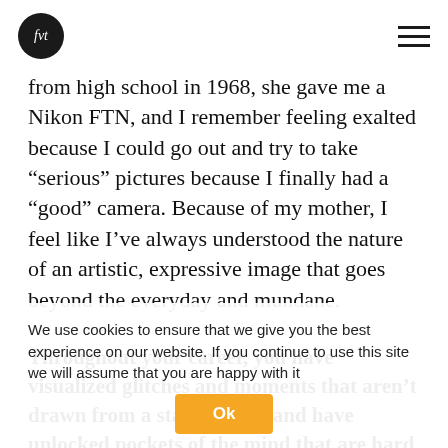fvt [logo] [hamburger menu]
from high school in 1968, she gave me a Nikon FTN, and I remember feeling exalted because I could go out and try to take “serious” pictures because I finally had a “good” camera. Because of my mother, I feel like I’ve always understood the nature of an artistic, expressive image that goes beyond the everyday and mundane.
Throughout your career, you have visualized glitches and moments that aren’t drawn from a static reality and have unlocked pockets of the mind that are hard enough to capture with a well-honed discipline. How did you approach manifesting these strange worlds?
It definitely evolved gradually, but I was always interested in creating photographs about
We use cookies to ensure that we give you the best experience on our website. If you continue to use this site we will assume that you are happy with it
Ok